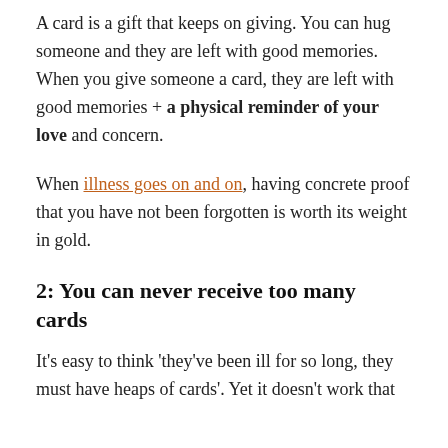A card is a gift that keeps on giving. You can hug someone and they are left with good memories. When you give someone a card, they are left with good memories + a physical reminder of your love and concern.
When illness goes on and on, having concrete proof that you have not been forgotten is worth its weight in gold.
2: You can never receive too many cards
It's easy to think 'they've been ill for so long, they must have heaps of cards'. Yet it doesn't work that